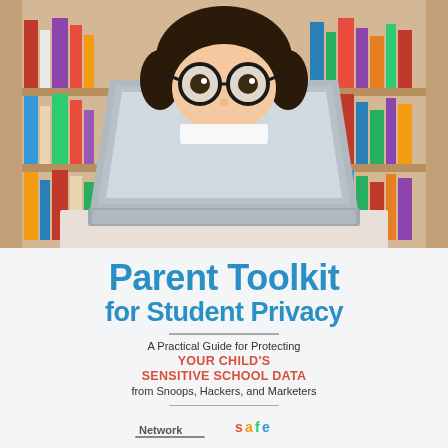[Figure (photo): Child with large round glasses peeking over an open laptop, set against a bookshelf background with colorful books]
Parent Toolkit for Student Privacy
A Practical Guide for Protecting YOUR CHILD'S SENSITIVE SCHOOL DATA from Snoops, Hackers, and Marketers
[Figure (logo): Two organization logos at the bottom of the cover page]